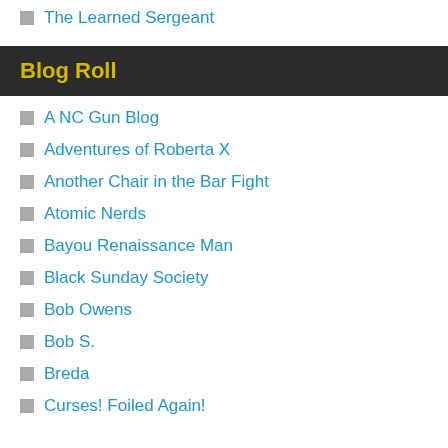The Learned Sergeant
Blog Roll
A NC Gun Blog
Adventures of Roberta X
Another Chair in the Bar Fight
Atomic Nerds
Bayou Renaissance Man
Black Sunday Society
Bob Owens
Bob S.
Breda
Curses! Foiled Again!